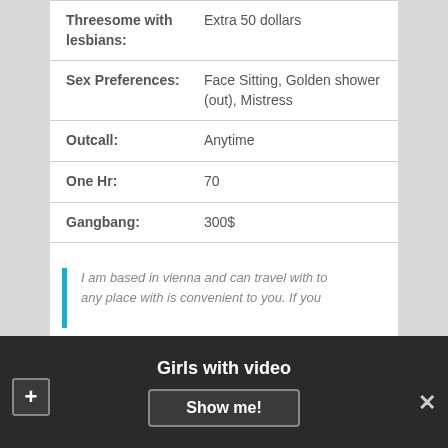| Threesome with lesbians: | Extra 50 dollars |
| Sex Preferences: | Face Sitting, Golden shower (out), Mistress |
| Outcall: | Anytime |
| One Hr: | 70 |
| Gangbang: | 300$ |
| Origin: | Asian |
+ PHOTOS
I am based in vienna and can travel with to any place with is convenient to you. If you
Girls with video
Show me!